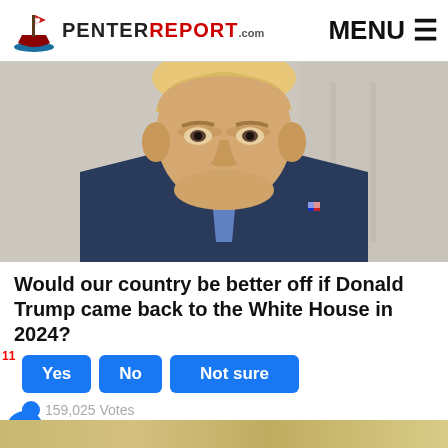PenterReport.com  MENU
[Figure (photo): Close-up portrait photo of Donald Trump in a dark suit and blue tie, looking stern, against a light stone background]
Would our country be better off if Donald Trump came back to the White House in 2024?
Yes  No  Not sure
159,025 Votes